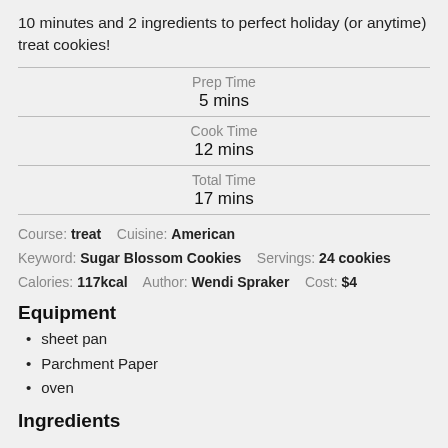10 minutes and 2 ingredients to perfect holiday (or anytime) treat cookies!
| Prep Time | 5 mins |
| Cook Time | 12 mins |
| Total Time | 17 mins |
Course: treat    Cuisine: American
Keyword: Sugar Blossom Cookies    Servings: 24 cookies
Calories: 117kcal    Author: Wendi Spraker    Cost: $4
Equipment
sheet pan
Parchment Paper
oven
Ingredients